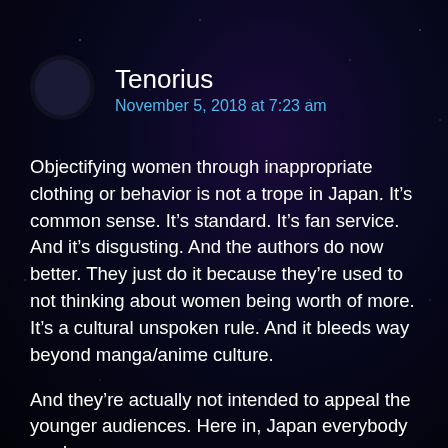[Figure (illustration): Crescent moon avatar icon, white crescent on dark background circle]
Tenorius
November 5, 2018 at 7:23 am
Objectifying women through inappropriate clothing or behavior is not a trope in Japan. It’s common sense. It’s standard. It’s fan service. And it’s disgusting. And the authors do now better. They just do it because they’re used to not thinking about women being worth of more. It’s a cultural unspoken rule. And it bleeds way beyond manga/anime culture.
And they’re actually not intended to appeal the younger audiences. Here in, Japan everybody reads